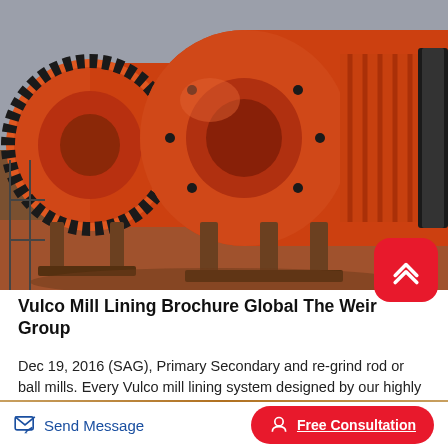[Figure (photo): Industrial orange ball mills / grinding mills in a factory/warehouse setting. Two large cylindrical orange mill drums are visible with associated gears and support structures.]
Vulco Mill Lining Brochure Global The Weir Group
Dec 19, 2016 (SAG), Primary Secondary and re-grind rod or ball mills. Every Vulco mill lining system designed by our highly trained, in-˜eld dedicated team throughout the world has taken your entire